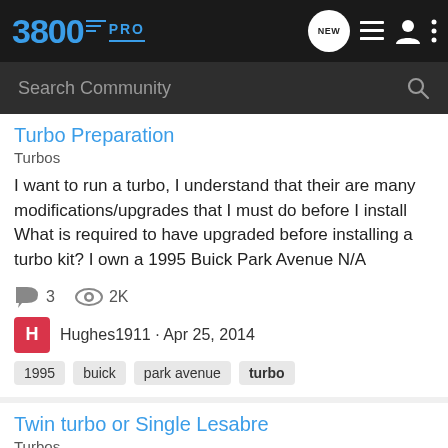3800PRO — navigation bar with NEW, list, user, and menu icons
Search Community
Turbo Preparation
Turbos
I want to run a turbo, I understand that their are many modifications/upgrades that I must do before I install What is required to have upgraded before installing a turbo kit? I own a 1995 Buick Park Avenue N/A
3 comments · 2K views
Hughes1911 · Apr 25, 2014
Tags: 1995, buick, park avenue, turbo
Twin turbo or Single Lesabre
Turbos
Hey so Ive been playing with the idea of after college putting